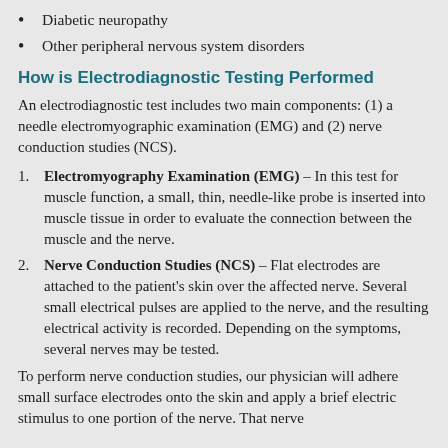Diabetic neuropathy
Other peripheral nervous system disorders
How is Electrodiagnostic Testing Performed
An electrodiagnostic test includes two main components: (1) a needle electromyographic examination (EMG) and (2) nerve conduction studies (NCS).
Electromyography Examination (EMG) – In this test for muscle function, a small, thin, needle-like probe is inserted into muscle tissue in order to evaluate the connection between the muscle and the nerve.
Nerve Conduction Studies (NCS) – Flat electrodes are attached to the patient's skin over the affected nerve. Several small electrical pulses are applied to the nerve, and the resulting electrical activity is recorded. Depending on the symptoms, several nerves may be tested.
To perform nerve conduction studies, our physician will adhere small surface electrodes onto the skin and apply a brief electric stimulus to one portion of the nerve. That nerve